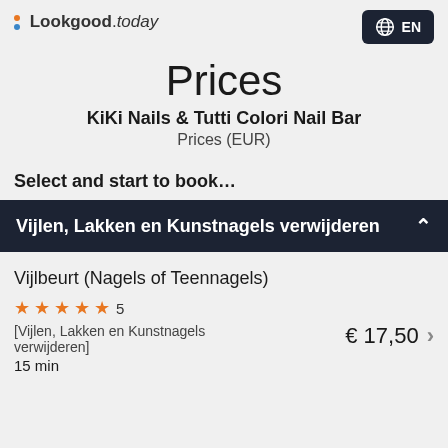Lookgood.today
Prices
KiKi Nails & Tutti Colori Nail Bar
Prices (EUR)
Select and start to book…
Vijlen, Lakken en Kunstnagels verwijderen
Vijlbeurt (Nagels of Teennagels)
★★★★★ 5
[Vijlen, Lakken en Kunstnagels verwijderen]
15 min
€ 17,50